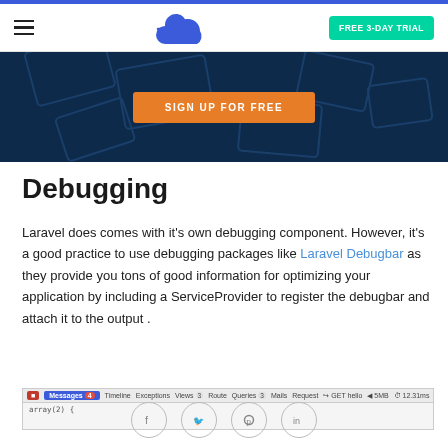Navigation bar with hamburger menu, cloud logo, FREE 3-DAY TRIAL button
[Figure (screenshot): Dark blue hero banner with geometric card shapes and orange SIGN UP FOR FREE button]
Debugging
Laravel does comes with it's own debugging component. However, it's a good practice to use debugging packages like Laravel Debugbar as they provide you tons of good information for optimizing your application by including a ServiceProvider to register the debugbar and attach it to the output .
[Figure (screenshot): Laravel Debugbar toolbar screenshot showing Messages, Timeline, Exceptions, Views, Route, Queries, Mails, Request tabs, GET hello, 5MB, 12.31ms]
[Figure (screenshot): Social share icons: Facebook, Twitter, Pinterest, LinkedIn]